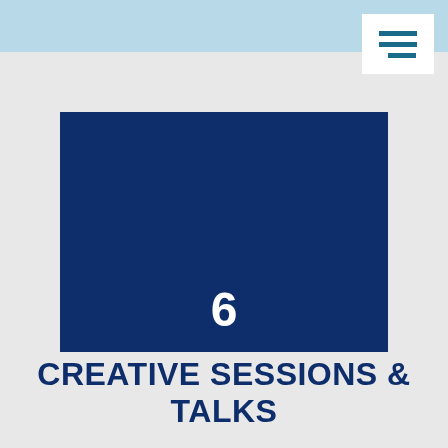[Figure (other): Dark navy blue panel with large white number 6 centered near the bottom]
CREATIVE SESSIONS & TALKS